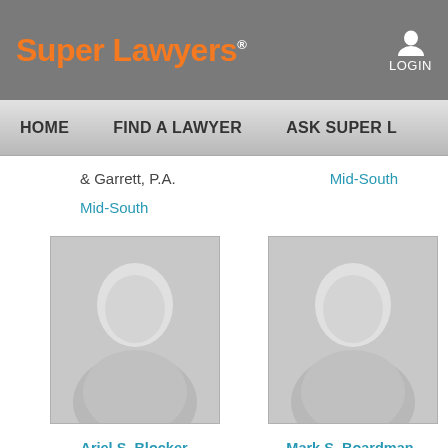Super Lawyers
LOGIN
HOME  FIND A LAWYER  ASK SUPER L...
& Garrett, P.A.
Mid-South
Mid-South
[Figure (photo): Placeholder silhouette photo for Ariel S. Blocker]
Ariel S. Blocker
Class of 1996
[Figure (photo): Placeholder silhouette photo for Mark S. Boardman]
Mark S. Boardman
Class of 1982